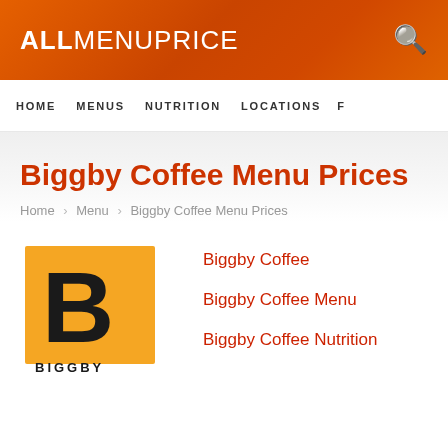ALLMENUPRICE
HOME  MENUS  NUTRITION  LOCATIONS
Biggby Coffee Menu Prices
Home › Menu › Biggby Coffee Menu Prices
[Figure (logo): Biggby Coffee logo: orange rectangle border with large black letter B, text BIGGBY below]
Biggby Coffee
Biggby Coffee Menu
Biggby Coffee Nutrition